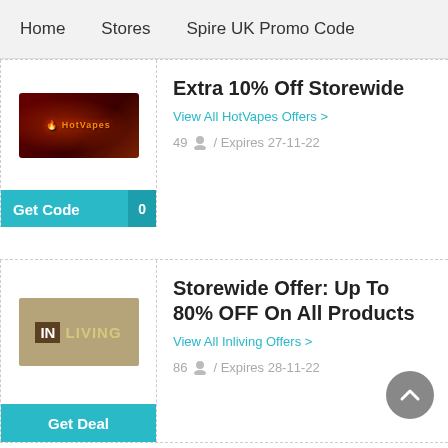Home   Stores   Spire UK Promo Code
[Figure (logo): HotVapes logo — dark red background with orange flame-style text]
Extra 10% Off Storewide
View All HotVapes Offers >
49   /  Expires 27-11-22
Get Code   0
[Figure (logo): InLiving logo — tan/khaki background with IN in dark brown box and LIVING in white letters]
Storewide Offer: Up To 80% OFF On All Products
View All Inliving Offers >
86   /  Expires 28-11-22
Get Deal
Extra 75% Off Sele...